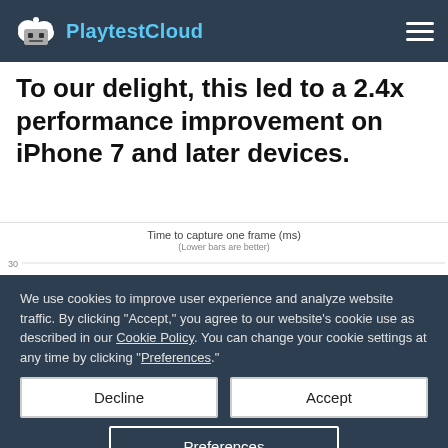PlaytestCloud
To our delight, this led to a 2.4x performance improvement on iPhone 7 and later devices.
[Figure (bar-chart): Bar chart showing time to capture one frame in ms. Lower bars are better. Y-axis shows values 30 and 25 visible.]
We use cookies to improve user experience and analyze website traffic. By clicking "Accept," you agree to our website's cookie use as described in our Cookie Policy. You can change your cookie settings at any time by clicking "Preferences."
Decline
Accept
Preferences